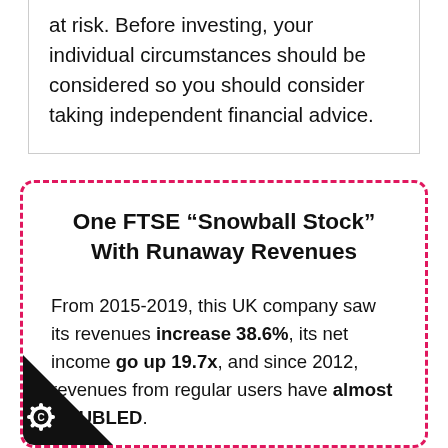at risk. Before investing, your individual circumstances should be considered so you should consider taking independent financial advice.
One FTSE “Snowball Stock” With Runaway Revenues
From 2015-2019, this UK company saw its revenues increase 38.6%, its net income go up 19.7x, and since 2012, revenues from regular users have almost DOUBLED.
We think the opportunity here really is